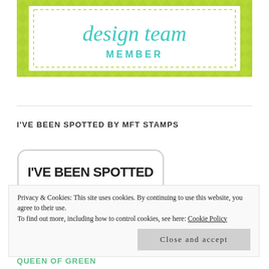[Figure (logo): Design Team Member badge with green chevron/herringbone background and white inner rectangle with dashed border. Text reads 'design team MEMBER' in teal/turquoise script and sans-serif font.]
I'VE BEEN SPOTTED BY MFT STAMPS
[Figure (logo): I've Been Spotted badge: white rounded rectangle with bold black text 'I'VE BEEN SPOTTED', a row of colorful dots (red, pink, green, dark blue, red, orange, teal, dark, red, teal, dark, red, teal, dark), and partial text 'ON THE MFT CHALLENGE BLOG' below.]
Privacy & Cookies: This site uses cookies. By continuing to use this website, you agree to their use.
To find out more, including how to control cookies, see here: Cookie Policy
Close and accept
QUEEN OF GREEN